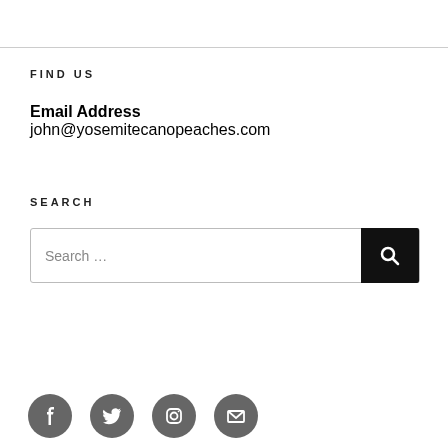FIND US
Email Address
john@yosemitecanopeaches.com
SEARCH
Search ...
[Figure (other): Social media icons row: Facebook, Twitter, Instagram, Email]